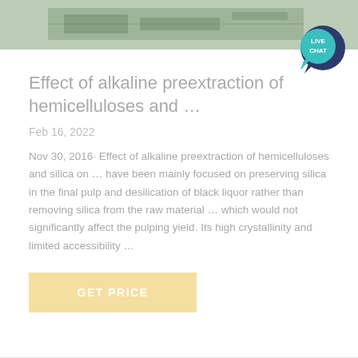[Figure (photo): Aerial or overhead view of a building or industrial facility, muted green-gray tones]
Effect of alkaline preextraction of hemicelluloses and …
Feb 16, 2022
Nov 30, 2016· Effect of alkaline preextraction of hemicelluloses and silica on … have been mainly focused on preserving silica in the final pulp and desilication of black liquor rather than removing silica from the raw material … which would not significantly affect the pulping yield. Its high crystallinity and limited accessibility …
[Figure (logo): Live Chat speech bubble icon with teal/dark blue colors and white text reading LIVE CHAT]
GET PRICE